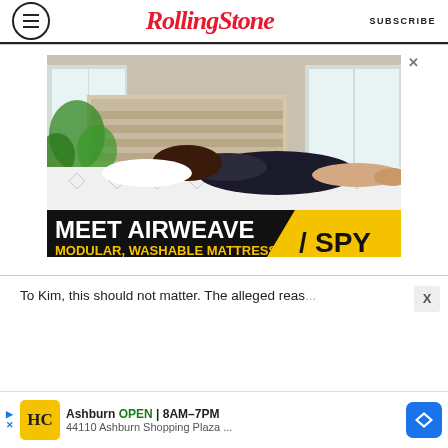RollingStone | SUBSCRIBE
[Figure (photo): Advertisement: Woman lying on a mattress in a bedroom setting. Text reads 'MEET AIRWEAVE - MODULAR, WASHABLE MATTRESS' with SPY logo on yellow background.]
To Kim, this should not matter. The alleged reas...
[Figure (photo): Bottom banner ad: HC logo, Ashburn OPEN 8AM-7PM, 44110 Ashburn Shopping Plaza ...]